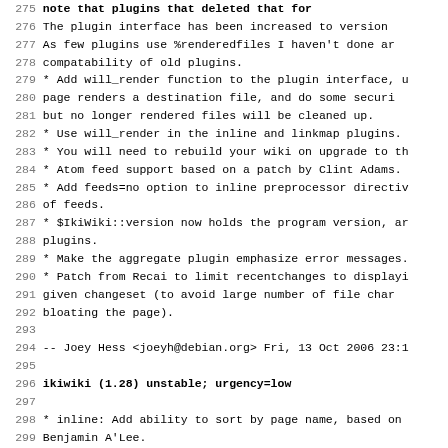Changelog/code listing showing ikiwiki debian changelog entries, lines 275-307